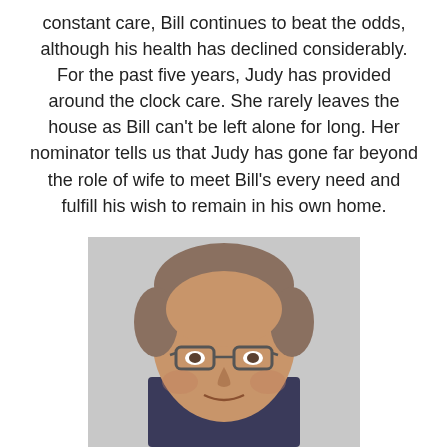constant care, Bill continues to beat the odds, although his health has declined considerably. For the past five years, Judy has provided around the clock care. She rarely leaves the house as Bill can't be left alone for long. Her nominator tells us that Judy has gone far beyond the role of wife to meet Bill's every need and fulfill his wish to remain in his own home.
[Figure (photo): Headshot photo of a middle-aged man with short grayish-brown hair, wearing glasses and a dark jacket, against a light gray background.]